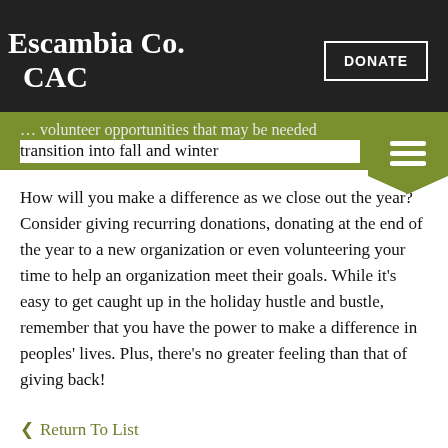Escambia Co. CAC
volunteer opportunities that may be needed transition into fall and winter
How will you make a difference as we close out the year? Consider giving recurring donations, donating at the end of the year to a new organization or even volunteering your time to help an organization meet their goals. While it’s easy to get caught up in the holiday hustle and bustle, remember that you have the power to make a difference in peoples’ lives. Plus, there’s no greater feeling than that of giving back!
❮ Return To List